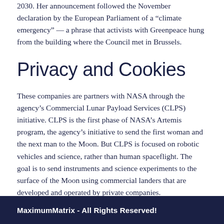2030. Her announcement followed the November declaration by the European Parliament of a “climate emergency” — a phrase that activists with Greenpeace hung from the building where the Council met in Brussels.
Privacy and Cookies
These companies are partners with NASA through the agency’s Commercial Lunar Payload Services (CLPS) initiative. CLPS is the first phase of NASA’s Artemis program, the agency’s initiative to send the first woman and the next man to the Moon. But CLPS is focused on robotic vehicles and science, rather than human spaceflight. The goal is to send instruments and science experiments to the surface of the Moon using commercial landers that are developed and operated by private companies.
MaximumMatrix - All Rights Reserved!